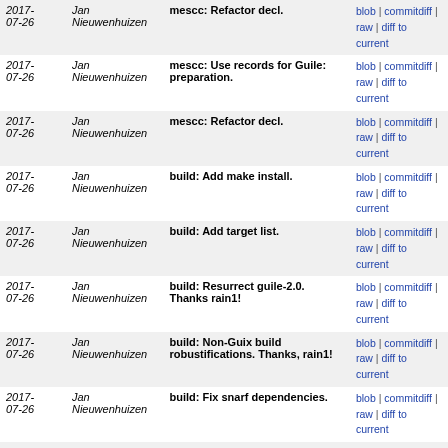| Date | Author | Message | Links |
| --- | --- | --- | --- |
| 2017-07-26 | Jan Nieuwenhuizen | mescc: Refactor decl. | blob | commitdiff | raw | diff to current |
| 2017-07-26 | Jan Nieuwenhuizen | mescc: Use records for Guile: preparation. | blob | commitdiff | raw | diff to current |
| 2017-07-26 | Jan Nieuwenhuizen | mescc: Refactor decl. | blob | commitdiff | raw | diff to current |
| 2017-07-26 | Jan Nieuwenhuizen | build: Add make install. | blob | commitdiff | raw | diff to current |
| 2017-07-26 | Jan Nieuwenhuizen | build: Add target list. | blob | commitdiff | raw | diff to current |
| 2017-07-26 | Jan Nieuwenhuizen | build: Resurrect guile-2.0. Thanks rain1! | blob | commitdiff | raw | diff to current |
| 2017-07-26 | Jan Nieuwenhuizen | build: Non-Guix build robustifications. Thanks, rain1! | blob | commitdiff | raw | diff to current |
| 2017-07-26 | Jan Nieuwenhuizen | build: Fix snarf dependencies. | blob | commitdiff | raw | diff to current |
| 2017-07-26 | Jan Nieuwenhuizen | mescc: Import tinycc test suite. | blob | commitdiff | raw | diff to current |
| 2017-07-09 | Jan Nieuwenhuizen | test: Split-up Mescc scaffold test. | blob | commitdiff | raw | diff to current |
| 2017-07-02 | Jan Nieuwenhuizen | mescc: Produce M1 output instead of hex2. | blob | commitdiff | raw | diff to current |
Unnamed repository; edit this file 'description' to name the repository.
Atom  RSS